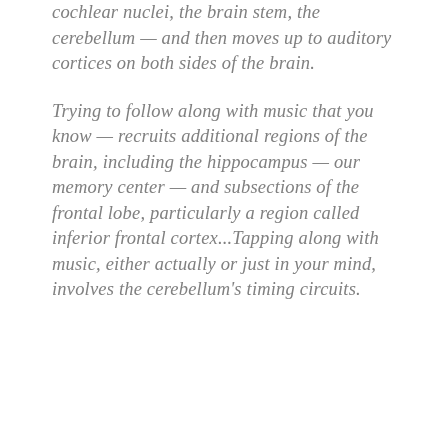cochlear nuclei, the brain stem, the cerebellum — and then moves up to auditory cortices on both sides of the brain.
Trying to follow along with music that you know — recruits additional regions of the brain, including the hippocampus — our memory center — and subsections of the frontal lobe, particularly a region called inferior frontal cortex...Tapping along with music, either actually or just in your mind, involves the cerebellum's timing circuits.